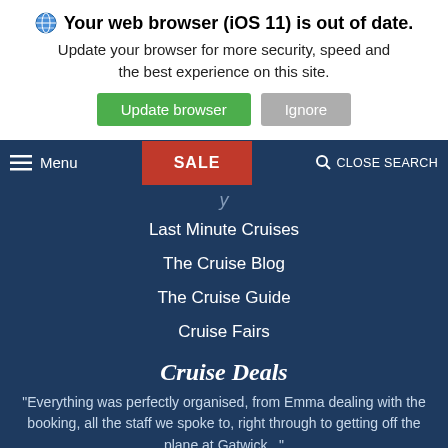Your web browser (iOS 11) is out of date. Update your browser for more security, speed and the best experience on this site.
Update browser | Ignore
[Figure (screenshot): Navigation bar with hamburger menu icon, Menu text, SALE button in red, and CLOSE SEARCH with magnifier icon]
Last Minute Cruises
The Cruise Blog
The Cruise Guide
Cruise Fairs
Cruise Deals
"Everything was perfectly organised, from Emma dealing with the booking, all the staff we spoke to, right through to getting off the plane at Gatwick..." Read more